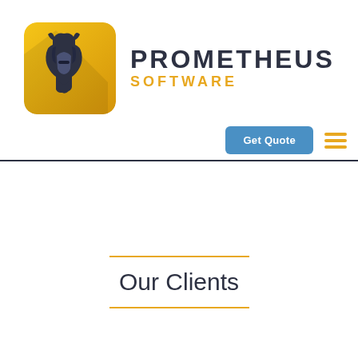[Figure (logo): Prometheus Software logo: golden rounded square with a Spartan helmet silhouette in dark navy, next to bold text PROMETHEUS in dark navy and SOFTWARE in golden/amber color]
[Figure (other): Navigation bar area with a blue 'Get Quote' button and a golden hamburger menu icon]
Our Clients